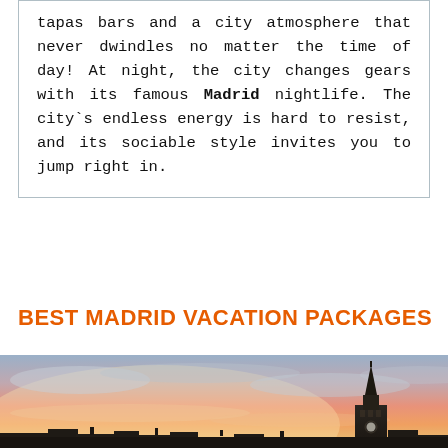tapas bars and a city atmosphere that never dwindles no matter the time of day! At night, the city changes gears with its famous Madrid nightlife. The city`s endless energy is hard to resist, and its sociable style invites you to jump right in.
BEST MADRID VACATION PACKAGES
[Figure (photo): Sunset cityscape of Madrid showing rooftops and a clock tower spire silhouetted against a pink and orange sky with clouds]